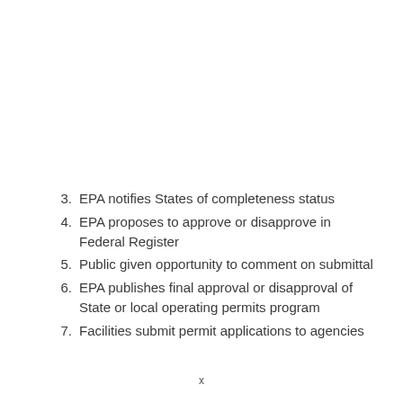3. EPA notifies States of completeness status
4. EPA proposes to approve or disapprove in Federal Register
5. Public given opportunity to comment on submittal
6. EPA publishes final approval or disapproval of State or local operating permits program
7. Facilities submit permit applications to agencies
x